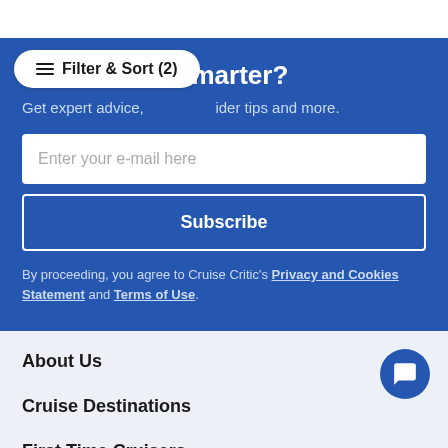[Figure (screenshot): Filter & Sort (2) button overlay on blue newsletter signup section]
smarter?
Get expert advice, insider tips and more.
Enter your e-mail here
Subscribe
By proceeding, you agree to Cruise Critic's Privacy and Cookies Statement and Terms of Use.
About Us
Cruise Destinations
First Time Cruisers